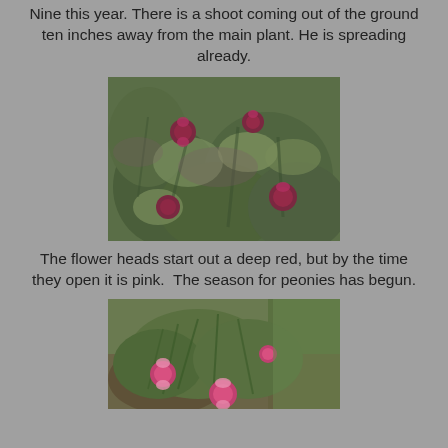Nine this year. There is a shoot coming out of the ground ten inches away from the main plant. He is spreading already.
[Figure (photo): Close-up photo of peony plants emerging from the ground, showing multiple shoots with deep red-purple buds and green leaves.]
The flower heads start out a deep red, but by the time they open it is pink. The season for peonies has begun.
[Figure (photo): Photo of peony plants in a garden bed with pink flower buds, green foliage, and surrounding lawn visible.]